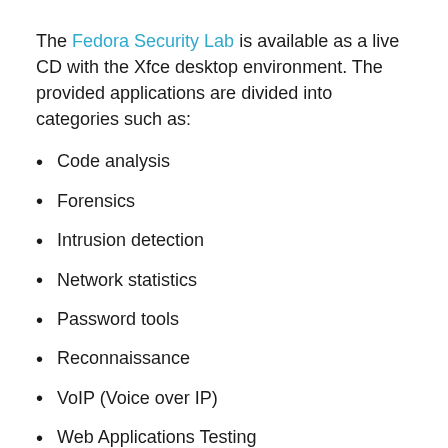The Fedora Security Lab is available as a live CD with the Xfce desktop environment. The provided applications are divided into categories such as:
Code analysis
Forensics
Intrusion detection
Network statistics
Password tools
Reconnaissance
VoIP (Voice over IP)
Web Applications Testing
Wireless